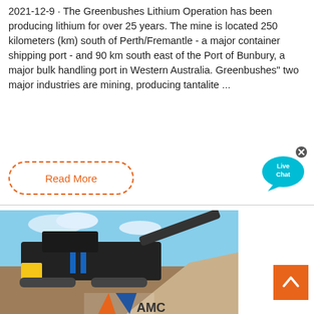2021-12-9 · The Greenbushes Lithium Operation has been producing lithium for over 25 years. The mine is located 250 kilometers (km) south of Perth/Fremantle - a major container shipping port - and 90 km south east of the Port of Bunbury, a major bulk handling port in Western Australia. Greenbushes" two major industries are mining, producing tantalite ...
Read More
[Figure (illustration): Live Chat speech bubble icon with cyan/teal color and x close button]
[Figure (photo): Industrial mining crusher/screening machine on tracks with gravel pile, AMC logo visible at bottom]
[Figure (illustration): Orange scroll-to-top button with upward chevron arrow]